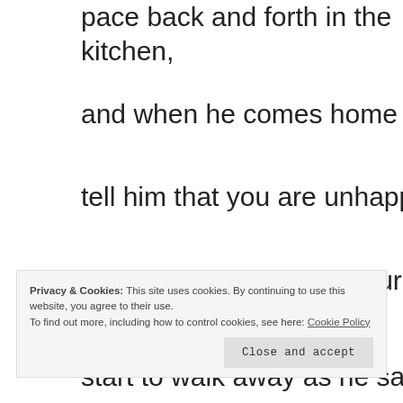pace back and forth in the kitchen,
and when he comes home
tell him that you are unhappy.
he will look hurt but not surprised.
start to walk away as he says
Privacy & Cookies: This site uses cookies. By continuing to use this website, you agree to their use.
To find out more, including how to control cookies, see here: Cookie Policy
Close and accept
or 'I can change'. and for this